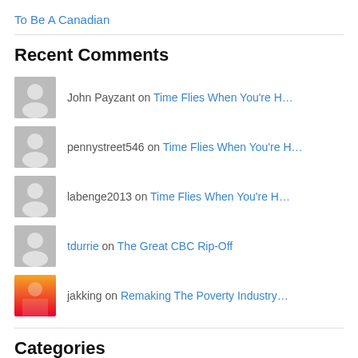To Be A Canadian
Recent Comments
John Payzant on Time Flies When You're H…
pennystreet546 on Time Flies When You're H…
labenge2013 on Time Flies When You're H…
tdurrie on The Great CBC Rip-Off
jakking on Remaking The Poverty Industry…
Categories
* My Work
Flash Fictions
History